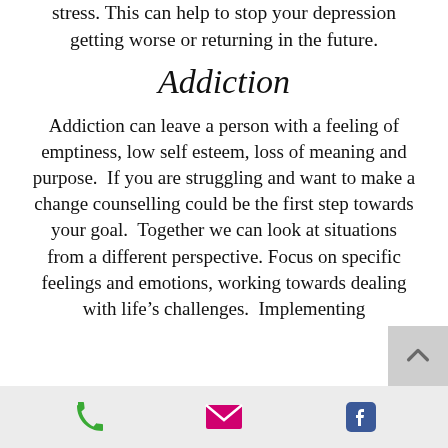stress. This can help to stop your depression getting worse or returning in the future.
Addiction
Addiction can leave a person with a feeling of emptiness, low self esteem, loss of meaning and purpose.  If you are struggling and want to make a change counselling could be the first step towards your goal.  Together we can look at situations from a different perspective. Focus on specific feelings and emotions, working towards dealing with life's challenges.  Implementing
[Figure (other): Bottom navigation bar with phone icon (green), email/envelope icon (pink/magenta), and Facebook icon (blue)]